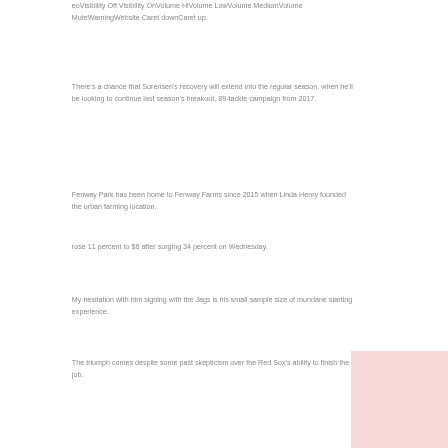eoVisibility Off Visibility OnVolume HiVolume LowVolume MediumVolume MuteWarningWebsite Caret downCaret up.
There's a chance that Sorensen's recovery will extend into the regular season, when he'll be looking to continue last season's breakout, 89-tackle campaign from 2017.
Fenway Park has been home to Fenway Farms since 2015 when Linda Henry founded the urban farming location.
rose 11 percent to $8 after surging 34 percent on Wednesday.
My hesitation with him signing with the Jags is his small sample size of mundane starting experience.
The triumph comes despite some past skepticism over the Red Sox's ability to finish the job.